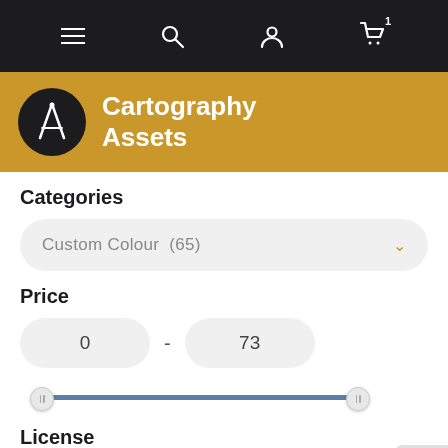Navigation bar with menu, search, user, and cart icons
Cartography Assets
Categories
Custom Colour  (65)
Price
0  -  73
License
Any license